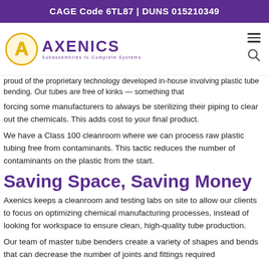CAGE Code 6TL87 | DUNS 015210349
[Figure (logo): Axenics logo with stylized A in gold and purple text reading AXENICS, Subassemblies to Complete Systems]
proud of the proprietary technology developed in-house involving plastic tube bending. Our tubes are free of kinks — something that
forcing some manufacturers to always be sterilizing their piping to clear out the chemicals. This adds cost to your final product.
We have a Class 100 cleanroom where we can process raw plastic tubing free from contaminants. This tactic reduces the number of contaminants on the plastic from the start.
Saving Space, Saving Money
Axenics keeps a cleanroom and testing labs on site to allow our clients to focus on optimizing chemical manufacturing processes, instead of looking for workspace to ensure clean, high-quality tube production.
Our team of master tube benders create a variety of shapes and bends that can decrease the number of joints and fittings required